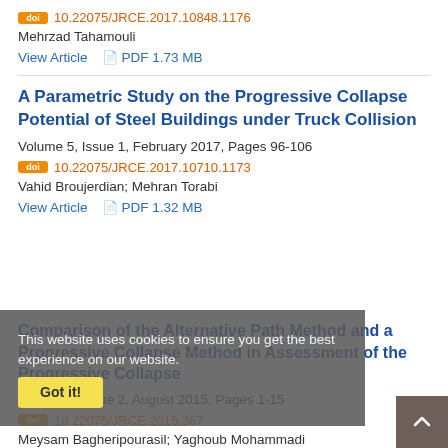doi 10.22075/JRCE.2017.10848.1176
Mehrzad Tahamouli
View Article  PDF 1.73 MB
A Parametric Study on the Progressive Collapse Potential of Steel Buildings under Truck Collision
Volume 5, Issue 1, February 2017, Pages 96-106
doi 10.22075/JRCE.2017.10710.1173
Vahid Broujerdian; Mehran Torabi
View Article  PDF 1.32 MB
Comparison of the Alternative Path Method and a Progressive Collapse Method in Assessment of the Progressive Collapse
Volume 3, Issue 2, August 2015, Pages 1-15
doi 10.22075/JRCE.2015.367
Meysam Bagheripourasil; Yaghoub Mohammadi
This website uses cookies to ensure you get the best experience on our website.
Got it!